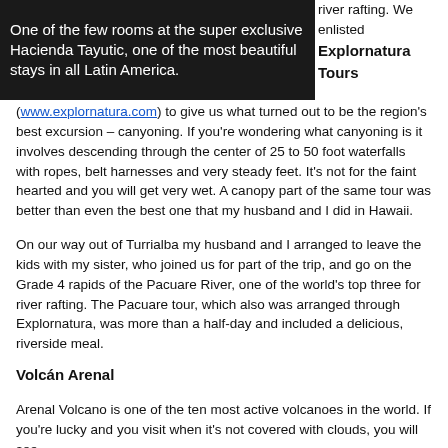One of the few rooms at the super exclusive Hacienda Tayutic, one of the most beautiful stays in all Latin America.
river rafting.  We enlisted Explornatura Tours (www.explornatura.com) to give us what turned out to be the region's best excursion – canyoning. If you're wondering what canyoning is it involves descending through the center of 25 to 50 foot waterfalls with ropes, belt harnesses and very steady feet.  It's not for the faint hearted and you will get very wet.  A canopy part of the same tour was better than even the best one that my husband and I did in Hawaii.
On our way out of Turrialba my husband and I arranged to leave the kids with my sister, who joined us for part of the trip, and go on the Grade 4 rapids of the Pacuare River, one of the world's top three for river rafting. The Pacuare tour, which also was arranged through Explornatura, was more than a half-day and included a delicious, riverside meal.
Volcán Arenal
Arenal Volcano is one of the ten most active volcanoes in the world. If you're lucky and you visit when it's not covered with clouds, you will see